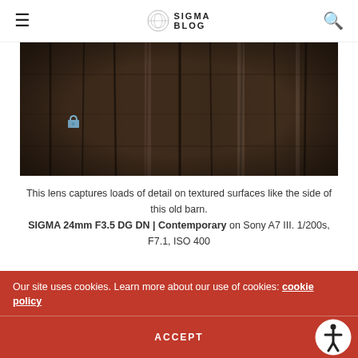SIGMA BLOG
[Figure (photo): Close-up photograph of the weathered wooden planks of an old barn, showing dark brown textured wood grain with vertical seams, and a small blue padlock visible on the left side.]
This lens captures loads of detail on textured surfaces like the side of this old barn. SIGMA 24mm F3.5 DG DN | Contemporary on Sony A7 III. 1/200s, F7.1, ISO 400
Really, I think anyone looking for a full-frame, high-quality prime that's small and light and don't mind skipping the
Our site uses cookies. Learn more about our use of cookies: cookie policy
ACCEPT